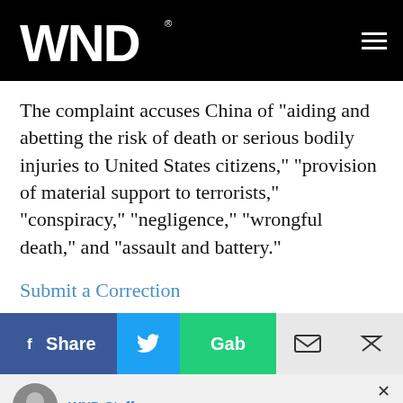WND
The complaint accuses China of "aiding and abetting the risk of death or serious bodily injuries to United States citizens," "provision of material support to terrorists," "conspiracy," "negligence," "wrongful death," and "assault and battery."
Submit a Correction
[Figure (infographic): Social sharing bar with Facebook Share, Twitter, Gab, Email, and Share buttons]
[Figure (infographic): WND Staff author box with advertisement for Jason Statham real estate article]